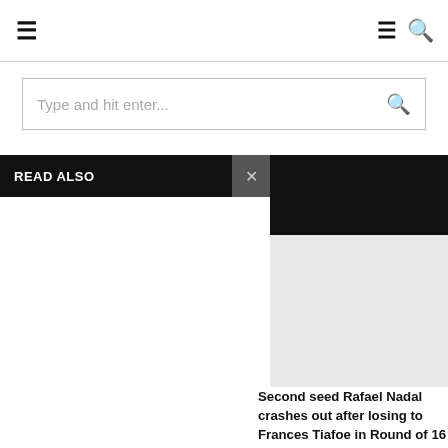☰  ☰ 🔍
Type and hit enter...
READ ALSO
Second seed Rafael Nadal crashes out after losing to Frances Tiafoe in Round of 16